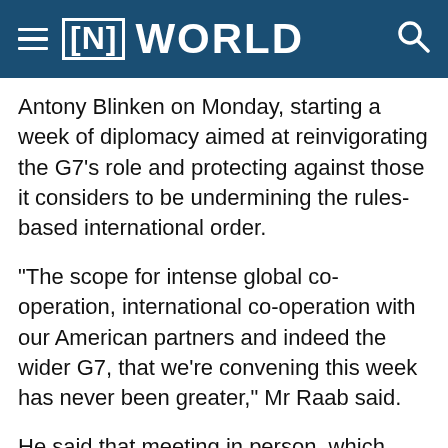[N] WORLD
Antony Blinken on Monday, starting a week of diplomacy aimed at reinvigorating the G7's role and protecting against those it considers to be undermining the rules-based international order.
"The scope for intense global co-operation, international co-operation with our American partners and indeed the wider G7, that we're convening this week has never been greater," Mr Raab said.
He said that meeting in person, which was only possible due to strict measures such as daily testing, would make diplomacy much easier.